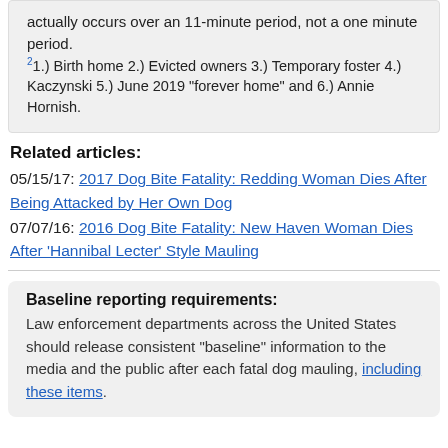actually occurs over an 11-minute period, not a one minute period.
2 1.) Birth home 2.) Evicted owners 3.) Temporary foster 4.) Kaczynski 5.) June 2019 "forever home" and 6.) Annie Hornish.
Related articles:
05/15/17: 2017 Dog Bite Fatality: Redding Woman Dies After Being Attacked by Her Own Dog
07/07/16: 2016 Dog Bite Fatality: New Haven Woman Dies After 'Hannibal Lecter' Style Mauling
Baseline reporting requirements:
Law enforcement departments across the United States should release consistent "baseline" information to the media and the public after each fatal dog mauling, including these items.